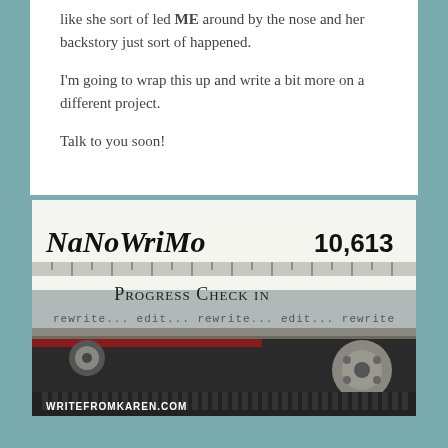like she sort of led ME around by the nose and her backstory just sort of happened.

I'm going to wrap this up and write a bit more on a different project.

Talk to you soon!
[Figure (illustration): NaNoWriMo Progress Check In image showing a close-up of a vintage typewriter with text on paper reading 'NaNoWriMo 10,613 Progress Check in rewrite... edit... rewrite... edit... rewrite' and watermark 'writefromkaren.com' at the bottom.]